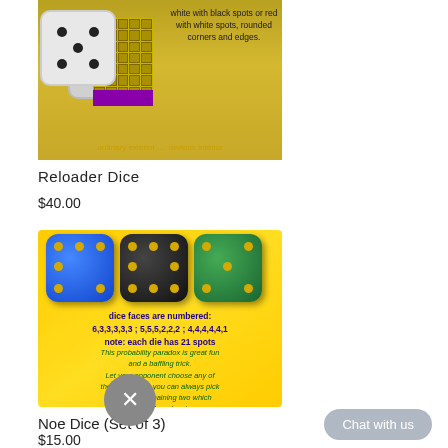[Figure (photo): Reloader Dice product image showing white dice with black spots revealing a golden interior grid and purple section. Text reads 'white with black spots or red with white spots, rounded corners and edges.' and 'ordinary exterior .... devious interior']
Reloader Dice
$40.00
[Figure (photo): Three large dice - blue, black, and green - on a yellow/gold background. Text: 'dice faces are numbered: 6,3,3,3,3,3 ; 5,5,5,2,2,2 ; 4,4,4,4,4,1 note: each die has 21 spots'. Below: 'This probability paradox is great fun and a baffling trick. Let your opponent choose any of the three dice - you can always pick one of the remaining two which gives you the advantage.']
No…e Dice (Set of 3)
$15.00